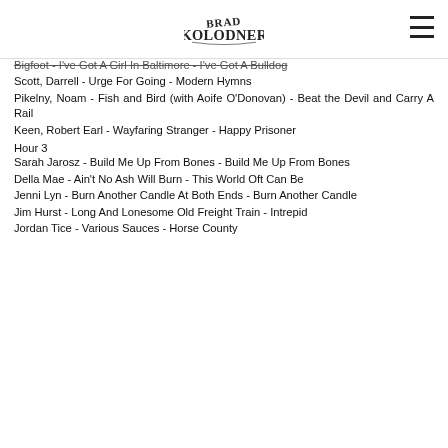Brad Kolodner
Bigfoot - I've Got A Girl In Baltimore - I've Got A Bulldog
Scott, Darrell - Urge For Going - Modern Hymns
Pikelny, Noam - Fish and Bird (with Aoife O'Donovan) - Beat the Devil and Carry A Rail
Keen, Robert Earl - Wayfaring Stranger - Happy Prisoner
Hour 3
Sarah Jarosz - Build Me Up From Bones - Build Me Up From Bones
Della Mae - Ain't No Ash Will Burn - This World Oft Can Be
Jenni Lyn - Burn Another Candle At Both Ends - Burn Another Candle
Jim Hurst - Long And Lonesome Old Freight Train - Intrepid
Jordan Tice - Various Sauces - Horse County